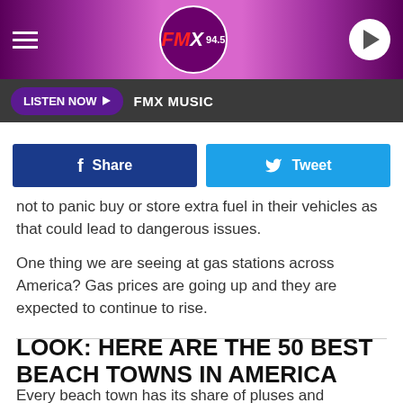FMX 94.5
LISTEN NOW  FMX MUSIC
Share  Tweet
not to panic buy or store extra fuel in their vehicles as that could lead to dangerous issues.

One thing we are seeing at gas stations across America? Gas prices are going up and they are expected to continue to rise.
LOOK: HERE ARE THE 50 BEST BEACH TOWNS IN AMERICA
Every beach town has its share of pluses and minuses, which